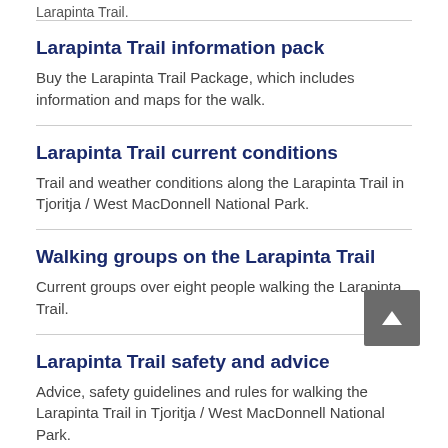Larapinta Trail.
Larapinta Trail information pack
Buy the Larapinta Trail Package, which includes information and maps for the walk.
Larapinta Trail current conditions
Trail and weather conditions along the Larapinta Trail in Tjoritja / West MacDonnell National Park.
Walking groups on the Larapinta Trail
Current groups over eight people walking the Larapinta Trail.
Larapinta Trail safety and advice
Advice, safety guidelines and rules for walking the Larapinta Trail in Tjoritja / West MacDonnell National Park.